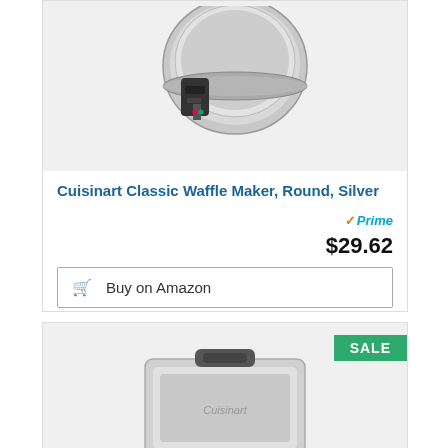[Figure (photo): Cuisinart Classic Waffle Maker round silver product photo, top portion cropped, showing circular chrome waffle maker with dark handle]
Cuisinart Classic Waffle Maker, Round, Silver
Prime $29.62
Buy on Amazon
SALE
[Figure (photo): Second Cuisinart waffle maker product photo, square/rectangular silver model, partially shown, bottom of page cropped]